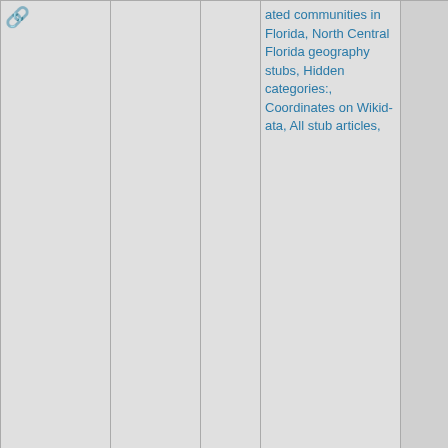| [link icon] |  | [link icon] | ated communities in Florida, North Central Florida geography stubs, Hidden categories:, Coordinates on Wikidata, All stub articles, |  |
| 72: 20.5mi [icons] | Dixie Highway | [link icon] | Dixie Highway, Hidden categories:, Wikipedia articles needing page number citations from July 2012, Pages with citations lacking title- | [photo of Brevard County stone marker] |